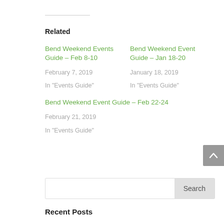Related
Bend Weekend Events Guide – Feb 8-10
February 7, 2019
In "Events Guide"
Bend Weekend Event Guide – Jan 18-20
January 18, 2019
In "Events Guide"
Bend Weekend Event Guide – Feb 22-24
February 21, 2019
In "Events Guide"
Recent Posts